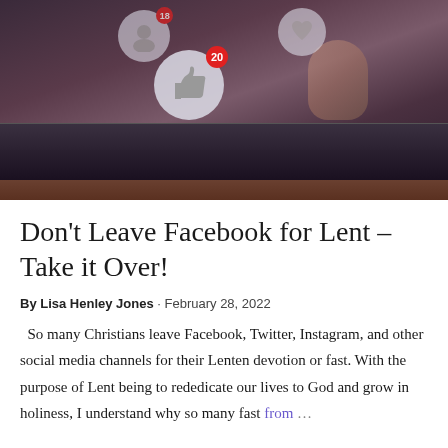[Figure (photo): Photo of a hand pressing a key on a keyboard or tablet, with social media notification bubbles floating above — a large 'like' thumbs-up bubble with a red badge showing '20', a friend/user icon bubble with a badge showing '18', and a heart/favorite icon bubble. The background is dark and moody.]
Don't Leave Facebook for Lent – Take it Over!
By Lisa Henley Jones · February 28, 2022
So many Christians leave Facebook, Twitter, Instagram, and other social media channels for their Lenten devotion or fast. With the purpose of Lent being to rededicate our lives to God and grow in holiness, I understand why so many fast from …